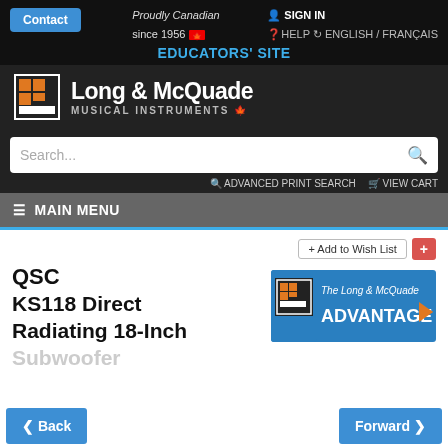Contact | Proudly Canadian since 1956 🍁 | SIGN IN | HELP | ENGLISH / FRANÇAIS | EDUCATORS' SITE
[Figure (logo): Long & McQuade Musical Instruments logo with orange grid icon and maple leaf]
Search...
ADVANCED PRINT SEARCH   VIEW CART
≡ MAIN MENU
+ Add to Wish List
QSC
KS118 Direct Radiating 18-Inch
[Figure (logo): The Long & McQuade Advantage badge in blue with orange arrow]
Back   Forward